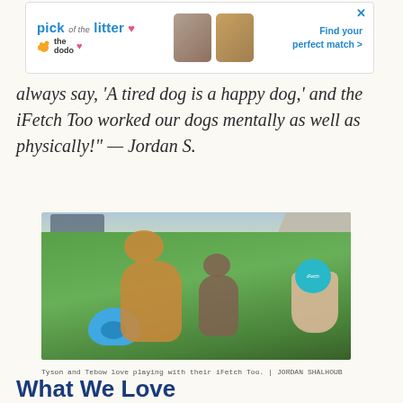[Figure (other): Advertisement banner for 'pick of the litter' by The Dodo with pet images and 'Find your perfect match >' text]
always say, 'A tired dog is a happy dog,' and the iFetch Too worked our dogs mentally as well as physically!' — Jordan S.
[Figure (photo): Two dogs (Tyson and Tebow) on a green lawn with an iFetch Too ball launcher device on the ground and a hand holding an iFetch-branded ball]
Tyson and Tebow love playing with their iFetch Too. | JORDAN SHALHOUB
What We Love